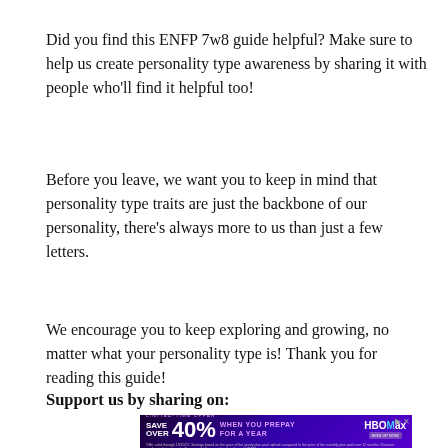Did you find this ENFP 7w8 guide helpful? Make sure to help us create personality type awareness by sharing it with people who'll find it helpful too!
Before you leave, we want you to keep in mind that personality type traits are just the backbone of our personality, there's always more to us than just a few letters.
We encourage you to keep exploring and growing, no matter what your personality type is! Thank you for reading this guide!
Support us by sharing on:
[Figure (other): HBO Max advertisement banner: LIMITED-TIME OFFER — SAVE OVER 40% WHEN YOU PREPAY FOR A YEAR, with HBO Max logo and sign up now button, on purple/dark background.]